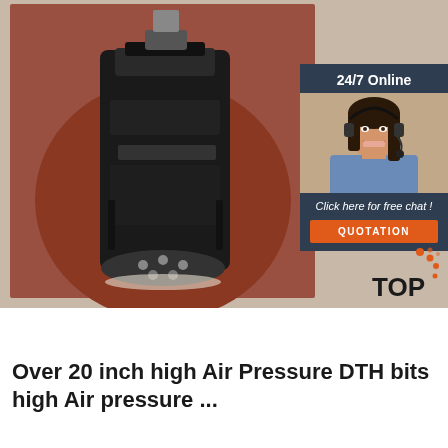[Figure (photo): Close-up photo of a large DTH (Down-the-Hole) drill bit, showing the black steel body and carbide inserts, set against a reddish-brown background. A '24/7 Online' customer service banner is overlaid on the top-right, with a photo of a smiling woman wearing a headset, text 'Click here for free chat!' and an orange 'QUOTATION' button. A 'TOP' logo with orange dots appears at the bottom-right.]
Over 20 inch high Air Pressure DTH bits high Air pressure ...